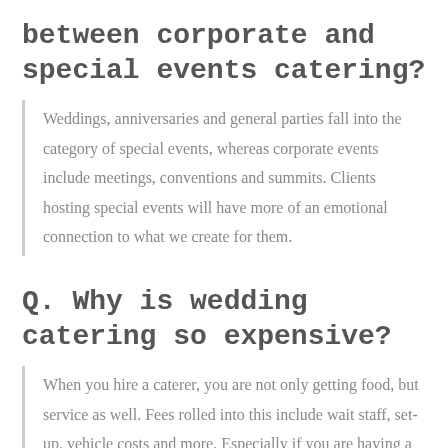between corporate and special events catering?
Weddings, anniversaries and general parties fall into the category of special events, whereas corporate events include meetings, conventions and summits. Clients hosting special events will have more of an emotional connection to what we create for them.
Q. Why is wedding catering so expensive?
When you hire a caterer, you are not only getting food, but service as well. Fees rolled into this include wait staff, set-up, vehicle costs and more. Especially if you are having a large wedding, labor expenses will be large due to volume of staff and